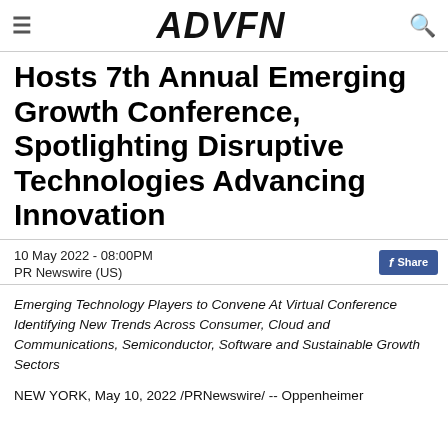≡  ADVFN  🔍
Hosts 7th Annual Emerging Growth Conference, Spotlighting Disruptive Technologies Advancing Innovation
10 May 2022 - 08:00PM
PR Newswire (US)
Emerging Technology Players to Convene At Virtual Conference Identifying New Trends Across Consumer, Cloud and Communications, Semiconductor, Software and Sustainable Growth Sectors
NEW YORK, May 10, 2022 /PRNewswire/ -- Oppenheimer